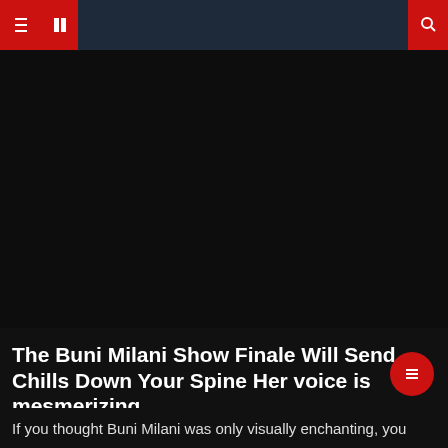Navigation bar with menu icons and search
[Figure (photo): Large dark hero image area, mostly black]
CelebsFans Exclusive
The Buni Milani Show Finale Will Send Chills Down Your Spine Her voice is mesmerizing
December 23, 2021   Alis
If you thought Buni Milani was only visually enchanting, you